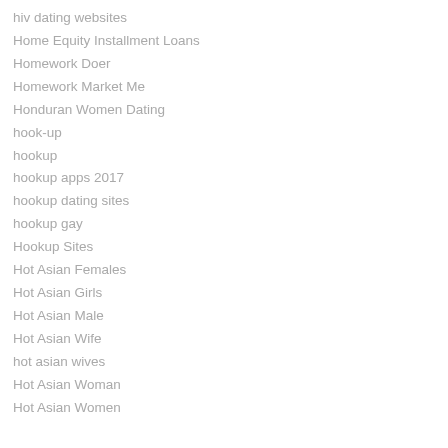hiv dating websites
Home Equity Installment Loans
Homework Doer
Homework Market Me
Honduran Women Dating
hook-up
hookup
hookup apps 2017
hookup dating sites
hookup gay
Hookup Sites
Hot Asian Females
Hot Asian Girls
Hot Asian Male
Hot Asian Wife
hot asian wives
Hot Asian Woman
Hot Asian Women